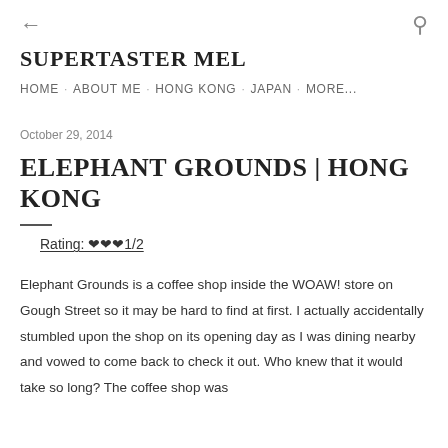← [back arrow]   [search icon]
SUPERTASTER MEL
HOME · ABOUT ME · HONG KONG · JAPAN · MORE...
October 29, 2014
ELEPHANT GROUNDS | HONG KONG
Rating: ❤❤❤1/2
Elephant Grounds is a coffee shop inside the WOAW! store on Gough Street so it may be hard to find at first. I actually accidentally stumbled upon the shop on its opening day as I was dining nearby and vowed to come back to check it out. Who knew that it would take so long? The coffee shop was